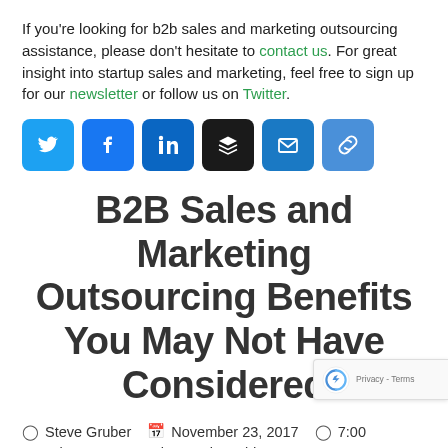If you're looking for b2b sales and marketing outsourcing assistance, please don't hesitate to contact us. For great insight into startup sales and marketing, feel free to sign up for our newsletter or follow us on Twitter.
[Figure (other): Row of six social media sharing icon buttons: Twitter (blue bird), Facebook (blue f), LinkedIn (blue in), Buffer (dark stack), Email (blue envelope), Copy Link (blue chain link)]
B2B Sales and Marketing Outsourcing Benefits You May Not Have Considered
Steve Gruber    November 23, 2017    7:00
Sales Strategy, Sales Tactics, Video